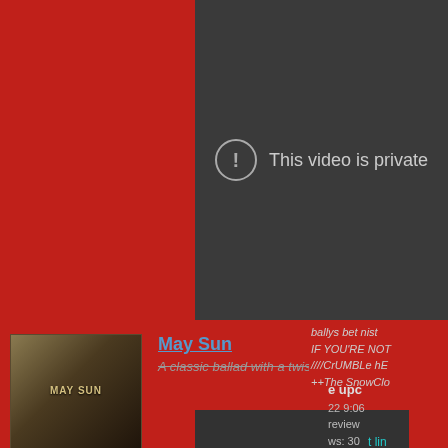[Figure (screenshot): YouTube-style video player showing 'This video is private' message with exclamation icon on dark grey background]
This video is private
[Figure (illustration): Album art for 'May Sun' by War & Sin — dark golden/sepia toned cloudy sky image with text overlaid]
May Sun
A classic ballad with a twist and an epic build
IF YOU'RE NOT
////CrUMBLe hE
++The SnowClo
e upc
22 9:06
review
ws: 30
t lin